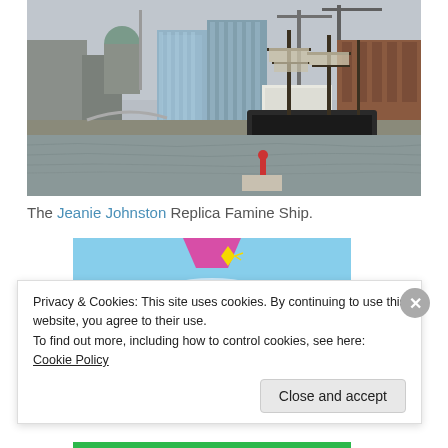[Figure (photo): Photo of the Dublin waterfront/docklands with the Jeanie Johnston tall ship moored at the quay, city skyline with dome and modern glass buildings in background, grey water in foreground]
The Jeanie Johnston Replica Famine Ship.
[Figure (illustration): Partial view of a cartoon/illustrated image showing a blue sky background with a pink shape and yellow diamond/star sparkle at the top]
Privacy & Cookies: This site uses cookies. By continuing to use this website, you agree to their use.
To find out more, including how to control cookies, see here: Cookie Policy
Close and accept